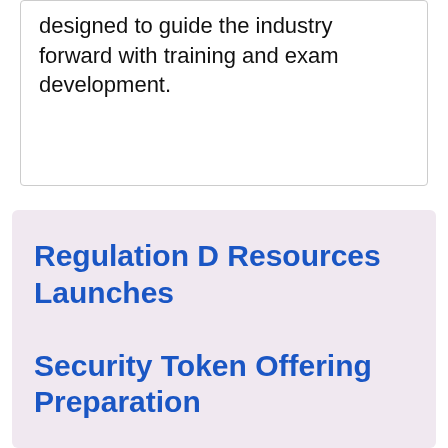designed to guide the industry forward with training and exam development.
Regulation D Resources Launches Security Token Offering Preparation Services
EXPRESS  Published: 2019-02-19
Regulation D Resources Enterprises, Inc. ("RDR") located in Lakewood, Colorado, has